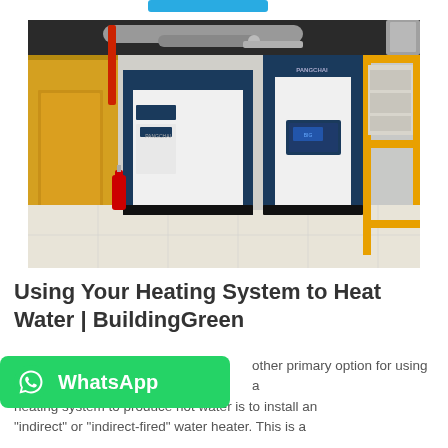[Figure (photo): Industrial heating boiler room with two large white and dark blue PANGCHAI brand boilers side by side, pipes on ceiling, fire extinguisher visible, yellow metal frame structure on right, tiled floor.]
Using Your Heating System to Heat Water | BuildingGreen
[Figure (logo): WhatsApp green button with phone handset icon and 'WhatsApp' text in white]
other primary option for using a heating system to produce hot water is to install an "indirect" or "indirect-fired" water heater. This is a